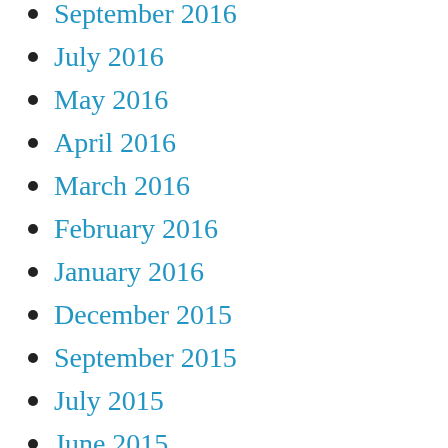September 2016
July 2016
May 2016
April 2016
March 2016
February 2016
January 2016
December 2015
September 2015
July 2015
June 2015
April 2015
March 2015
February 2015
January 2015
December 2014
October 2014